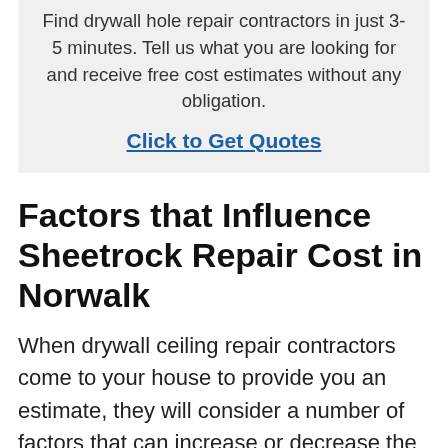Find drywall hole repair contractors in just 3-5 minutes. Tell us what you are looking for and receive free cost estimates without any obligation.
Click to Get Quotes
Factors that Influence Sheetrock Repair Cost in Norwalk
When drywall ceiling repair contractors come to your house to provide you an estimate, they will consider a number of factors that can increase or decrease the cost of your project. Pricing for your drywall repair project will vary